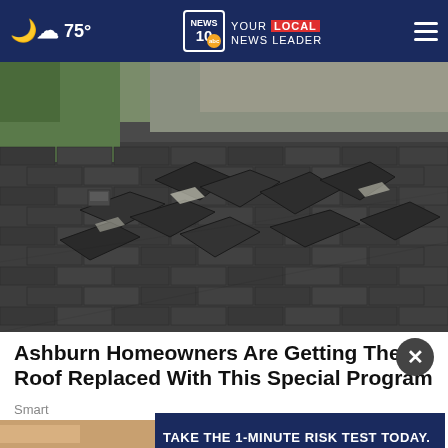75° | NEWS 10 abc YOUR LOCAL NEWS LEADER
[Figure (photo): Damaged asphalt shingle roof with curling, cracked, and missing shingles. Trees and houses visible in background.]
Ashburn Homeowners Are Getting Their Roof Replaced With This Special Program
Smart
[Figure (infographic): Advertisement banner: TAKE THE 1-MINUTE RISK TEST TODAY. DolHavePrediabetes.org, with ad council, AMA, and CDC logos.]